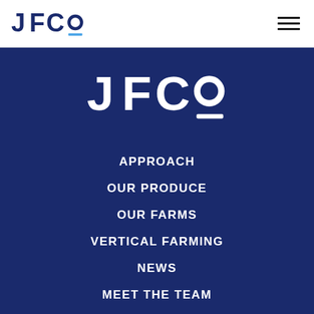JFCo logo and navigation menu icon
[Figure (logo): JFCo logo in white on dark navy background, large centered display]
APPROACH
OUR PRODUCE
OUR FARMS
VERTICAL FARMING
NEWS
MEET THE TEAM